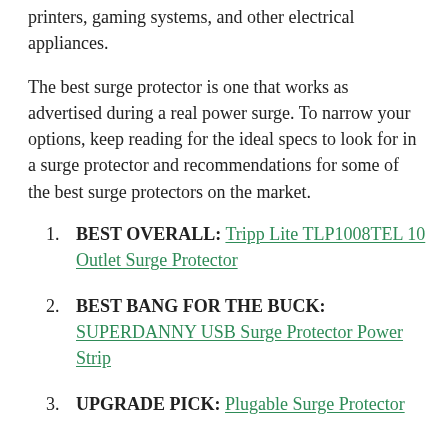printers, gaming systems, and other electrical appliances.
The best surge protector is one that works as advertised during a real power surge. To narrow your options, keep reading for the ideal specs to look for in a surge protector and recommendations for some of the best surge protectors on the market.
BEST OVERALL: Tripp Lite TLP1008TEL 10 Outlet Surge Protector
BEST BANG FOR THE BUCK: SUPERDANNY USB Surge Protector Power Strip
UPGRADE PICK: Plugable Surge Protector